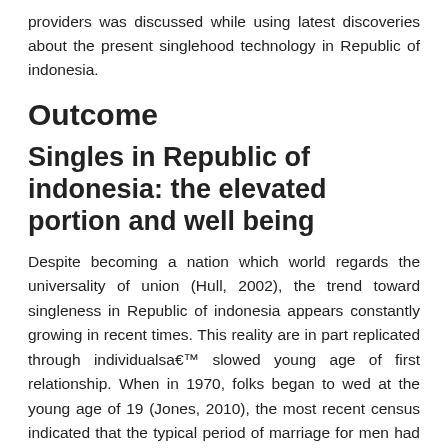providers was discussed while using latest discoveries about the present singlehood technology in Republic of indonesia.
Outcome
Singles in Republic of indonesia: the elevated portion and well being
Despite becoming a nation which world regards the universality of union (Hull, 2002), the trend toward singleness in Republic of indonesia appears constantly growing in recent times. This reality are in part replicated through individualsa€™ slowed young age of first relationship. When in 1970, folks began to wed at the young age of 19 (Jones, 2010), the most recent census indicated that the typical period of marriage for men had been 25.7 and 22.2 for girls (Badan Pusat Statistik, 2010b). The